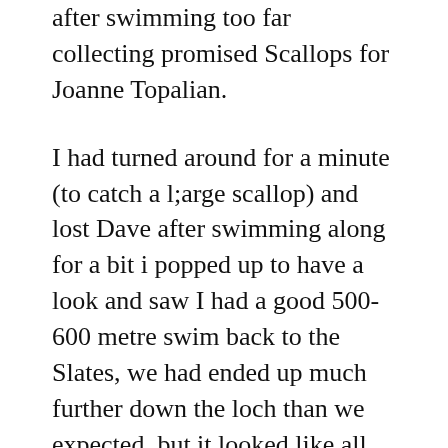after swimming too far collecting promised Scallops for Joanne Topalian.
I had turned around for a minute (to catch a l;arge scallop) and lost Dave after swimming along for a bit i popped up to have a look and saw I had a good 500-600 metre swim back to the Slates, we had ended up much further down the loch than we expected, but it looked like all that cycling paid off with a hard swim into the tide with a large heavy bag of scallops accomplished with only two bouts of cramp, eventually I swam round into the bay and got out up the Beach, meeting Dave who had hiked across the point from the other side. It was a decent day, there were no Rebreather dramas